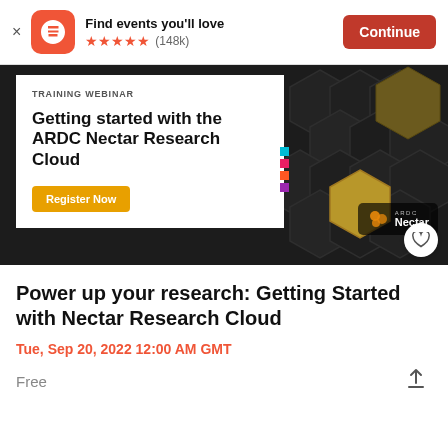Find events you'll love ★★★★★ (148k) Continue
[Figure (screenshot): Event banner image: Training Webinar - Getting started with the ARDC Nectar Research Cloud, with Register Now button, on dark hexagonal background with ARDC Nectar logo]
Power up your research: Getting Started with Nectar Research Cloud
Tue, Sep 20, 2022 12:00 AM GMT
Free